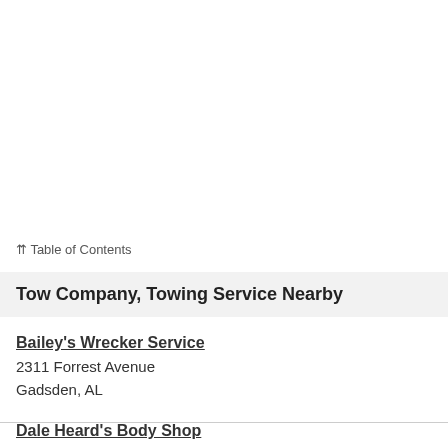⇈ Table of Contents
Tow Company, Towing Service Nearby
Bailey's Wrecker Service
2311 Forrest Avenue
Gadsden, AL
Dale Heard's Body Shop
101 Commerce Parkways